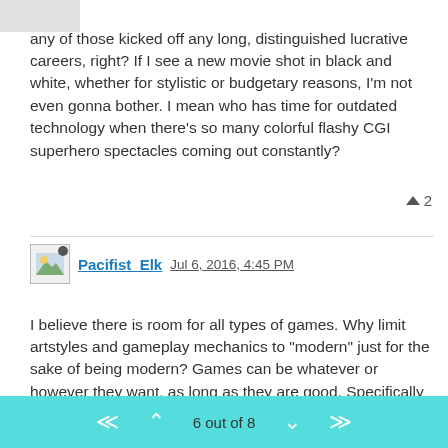any of those kicked off any long, distinguished lucrative careers, right? If I see a new movie shot in black and white, whether for stylistic or budgetary reasons, I'm not even gonna bother. I mean who has time for outdated technology when there's so many colorful flashy CGI superhero spectacles coming out constantly?
▲ 2
Pacifist_Elk Jul 6, 2016, 4:45 PM
I believe there is room for all types of games. Why limit artstyles and gameplay mechanics to "modern" just for the sake of being modern? Games can be whatever or however they want, as long as they are good. Specifically dealing with the complaint about turn based systems- That is a unique type of gameplay that cannot be replicated in real time, by definition. Saying Turn Based is outdated and should be changed to real time is akin to saying Chess or Monopoly being turn based is outdated and those board games and new board games should all be converted to real time. Card Games like Magic the Gathering would not be the same. Turn Based is outdated and should
6 out of 8